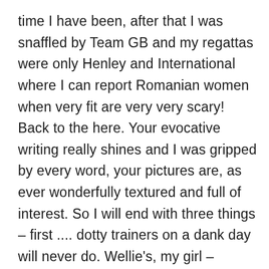time I have been, after that I was snaffled by Team GB and my regattas were only Henley and International where I can report Romanian women when very fit are very very scary! Back to the here. Your evocative writing really shines and I was gripped by every word, your pictures are, as ever wonderfully textured and full of interest. So I will end with three things – first .... dotty trainers on a dank day will never do. Wellie's, my girl – Wellie's are the thing for a sensible British gal! Second ..... the door knocker shop reminds me that my mother-in-law worked for many years for the gloriously named 'Knobs and Knockers' which still makes me snicker and third – is the US in a frenzy